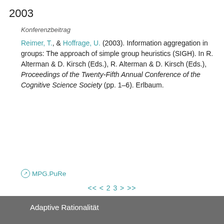2003
Konferenzbeitrag
Reimer, T., & Hoffrage, U. (2003). Information aggregation in groups: The approach of simple group heuristics (SIGH). In R. Alterman & D. Kirsch (Eds.), R. Alterman & D. Kirsch (Eds.), Proceedings of the Twenty-Fifth Annual Conference of the Cognitive Science Society (pp. 1–6). Erlbaum.
MPG.PuRe
<< < 2 3 > >>
Adaptive Rationalität
Forschungsfelder
Personen